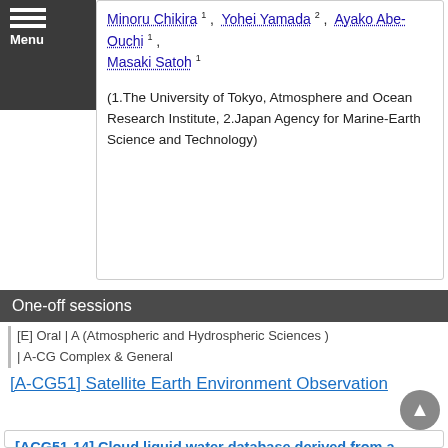Menu
Minoru Chikira 1, Yohei Yamada 2, Ayako Abe-Ouchi 1, Masaki Satoh 1
(1.The University of Tokyo, Atmosphere and Ocean Research Institute, 2.Japan Agency for Marine-Earth Science and Technology)
One-off sessions
[E] Oral | A (Atmospheric and Hydrospheric Sciences ) | A-CG Complex & General
[A-CG51] Satellite Earth Environment Observation
[ACG51-14] Cloud liquid water database derived from a global cloud-system resolving model for precipitation retrievals of GPM/DPR observations
* Takuji Kubota 1, Masaki Satoh 2, Shinta Seto 3, Toshio Iguchi 4, Takeshi Masaki 5, Tomoe Nasuno 6, Riko Oki 1
(1.Earth Observation Research Center,Japan Aerospace Exploration Agency, 2.Atmosphere and Ocean Research